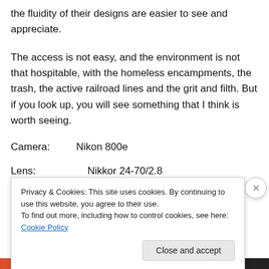the fluidity of their designs are easier to see and appreciate.
The access is not easy, and the environment is not that hospitable, with the homeless encampments, the trash, the active railroad lines and the grit and filth. But if you look up, you will see something that I think is worth seeing.
Camera:     Nikon 800e
Lens:         Nikkor 24-70/2.8
Exposure:  f/16, several exposures, covering 7 EVs
Privacy & Cookies: This site uses cookies. By continuing to use this website, you agree to their use.
To find out more, including how to control cookies, see here: Cookie Policy